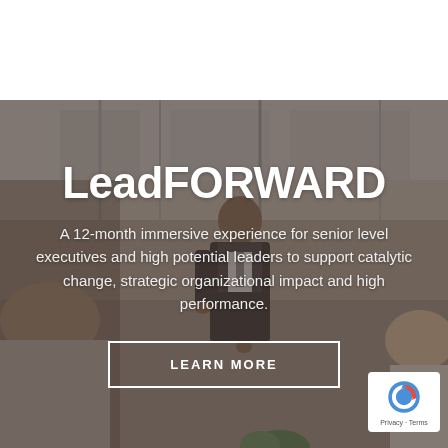[Figure (photo): Background photo of business professionals in a meeting room. A man in a suit stands presenting while others listen. Image has a dark warm overlay. Top portion is white (no image).]
LeadFORWARD
A 12-month immersive experience for senior level executives and high potential leaders to support catalytic change, strategic organizational impact and high performance.
LEARN MORE